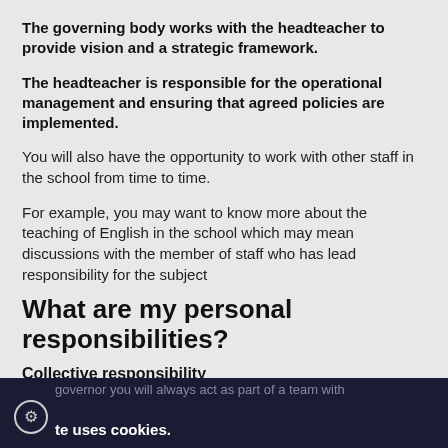The governing body works with the headteacher to provide vision and a strategic framework.
The headteacher is responsible for the operational management and ensuring that agreed policies are implemented.
You will also have the opportunity to work with other staff in the school from time to time.
For example, you may want to know more about the teaching of English in the school which may mean discussions with the member of staff who has lead responsibility for the subject
What are my personal responsibilities?
Collective responsibility
governor you will always act as part of a team with
te uses cookies.